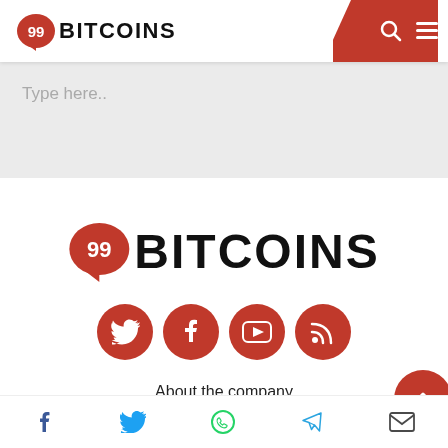99BITCOINS
Type here..
[Figure (logo): 99Bitcoins logo — red speech-bubble icon with '99BITCOINS' text]
[Figure (infographic): Four red circular social media icons: Twitter, Facebook, YouTube, RSS]
About the company
[Figure (infographic): Bottom share bar with Facebook, Twitter, WhatsApp, Telegram, Email icons]